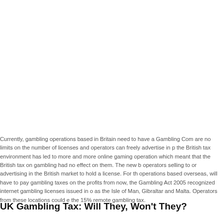Currently, gambling operations based in Britain need to have a Gambling Com are no limits on the number of licenses and operators can freely advertise in p the British tax environment has led to more and more online gaming operation which meant that the British tax on gambling had no effect on them. The new b operators selling to or advertising in the British market to hold a license. For th operations based overseas, will have to pay gambling taxes on the profits from now, the Gambling Act 2005 recognized internet gambling licenses issued in o as the Isle of Man, Gibraltar and Malta. Operators from these locations could e the 15% remote gambling tax.
UK Gambling Tax: Will They, Won't They?